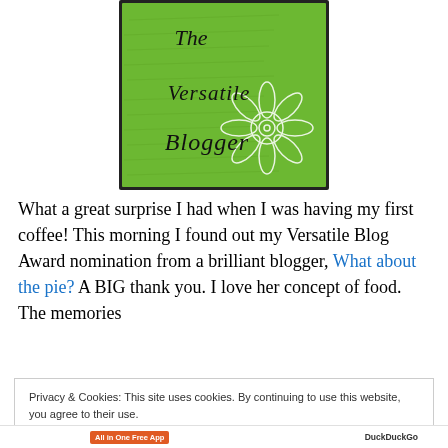[Figure (illustration): The Versatile Blogger award badge — green background with handwritten script text and white flower illustration. Text reads 'The Versatile Blogger'.]
What a great surprise I had when I was having my first coffee! This morning I found out my Versatile Blog Award nomination from a brilliant blogger, What about the pie? A BIG thank you. I love her concept of food. The memories
Privacy & Cookies: This site uses cookies. By continuing to use this website, you agree to their use.
To find out more, including how to control cookies, see here: Cookie Policy
Close and accept
All in One Free App   DuckDuckGo